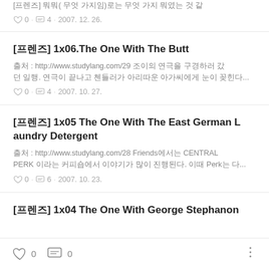[프렌즈] 1x06.The One With The Butt
출처 : http://www.studylang.com/29 조이의 연극을 구경하러 갔던 일행. 연극이 끝나고 첸들러가 아리따운 아가씨에게 눈이 꽂힌다...
0 · 4 · 2007. 10. 27.
[프렌즈] 1x05 The One With The East German Laundry Detergent
출처 : http://www.studylang.com/28 Friends에서는 CENTRAL PERK 이라는 커피숍에서 이야기가 많이 진행된다. 이때 Perk는 다...
0 · 6 · 2007. 10. 23.
[프렌즈] 1x04 The One With George Stephanon
0   0